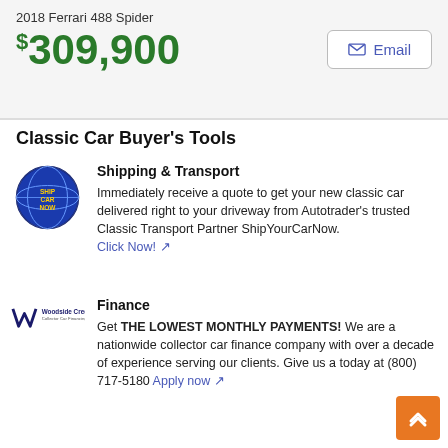2018 Ferrari 488 Spider $309,900
Classic Car Buyer's Tools
[Figure (logo): ShipCarNow circular globe logo with blue background]
Shipping & Transport
Immediately receive a quote to get your new classic car delivered right to your driveway from Autotrader's trusted Classic Transport Partner ShipYourCarNow. Click Now!
[Figure (logo): Woodside Credit Collector Car Financing logo]
Finance
Get THE LOWEST MONTHLY PAYMENTS! We are a nationwide collector car finance company with over a decade of experience serving our clients. Give us a today at (800) 717-5180 Apply now